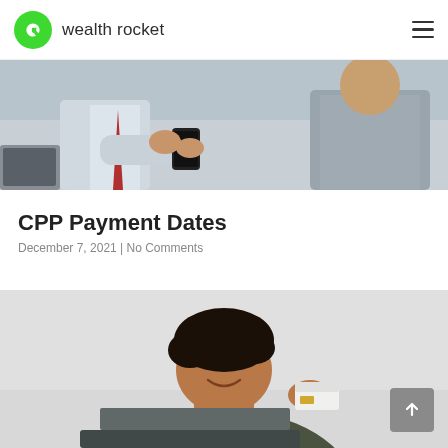wealth rocket
[Figure (photo): Two people looking at a smartphone together; one wearing a white shirt with red tie, the other in a grey shirt. A laptop is partially visible on the left.]
CPP Payment Dates
December 7, 2021 | No Comments
[Figure (photo): A young man with curly dark hair, wearing a dark olive/green sweatshirt, smiling and holding a credit card near his face while looking at a laptop screen.]